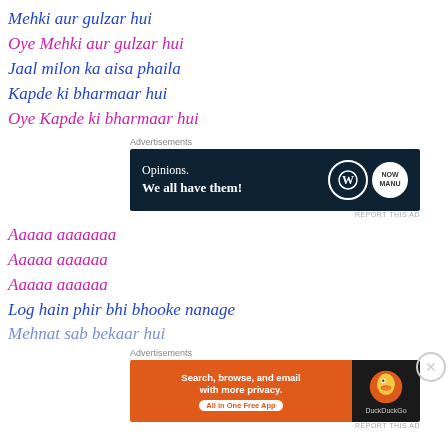Mehki aur gulzar hui
Oye Mehki aur gulzar hui
Jaal milon ka aisa phaila
Kapde ki bharmaar hui
Oye Kapde ki bharmaar hui
[Figure (other): Advertisement banner: WordPress/Now - Opinions. We all have them!]
Aaaaa aaaaaaa
Aaaaa aaaaaa
Aaaaa aaaaaa
Log hain phir bhi bhooke nanage
Mehnat sab bekaar hui
[Figure (other): Advertisement banner: DuckDuckGo - Search, browse, and email with more privacy. All in One Free App]